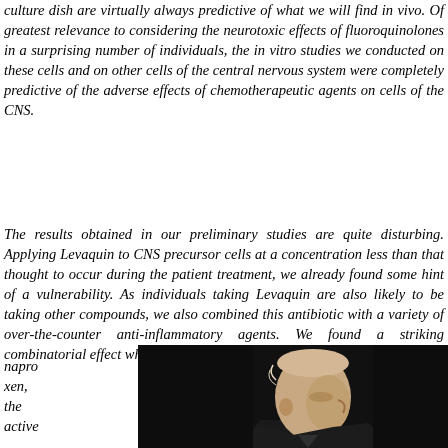culture dish are virtually always predictive of what we will find in vivo. Of greatest relevance to considering the neurotoxic effects of fluoroquinolones in a surprising number of individuals, the in vitro studies we conducted on these cells and on other cells of the central nervous system were completely predictive of the adverse effects of chemotherapeutic agents on cells of the CNS.
The results obtained in our preliminary studies are quite disturbing. Applying Levaquin to CNS precursor cells at a concentration less than that thought to occur during the patient treatment, we already found some hint of a vulnerability. As individuals taking Levaquin are also likely to be taking other compounds, we also combined this antibiotic with a variety of over-the-counter anti-inflammatory agents. We found a striking combinatorial effect when Levaquin was combined with
napro xen, the active
[Figure (photo): Photo of a bald elderly man in profile/three-quarter view against a dark background, appearing to be at a lecture or presentation.]